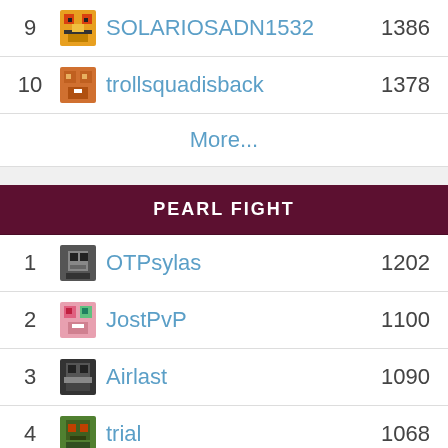| Rank | Avatar | Username | Score |
| --- | --- | --- | --- |
| 9 |  | SOLARIOSADN1532 | 1386 |
| 10 |  | trollsquadisback | 1378 |
More...
PEARL FIGHT
| Rank | Avatar | Username | Score |
| --- | --- | --- | --- |
| 1 |  | OTPsylas | 1202 |
| 2 |  | JostPvP | 1100 |
| 3 |  | Airlast | 1090 |
| 4 |  | trial | 1068 |
| 5 |  | PracWarrior1 | 1053 |
| 6 |  | escc | 1049 |
| 7 |  | gekq | 1048 |
| 8 |  | lem0naki | 1048 |
| 9 |  | luigi | 1045 |